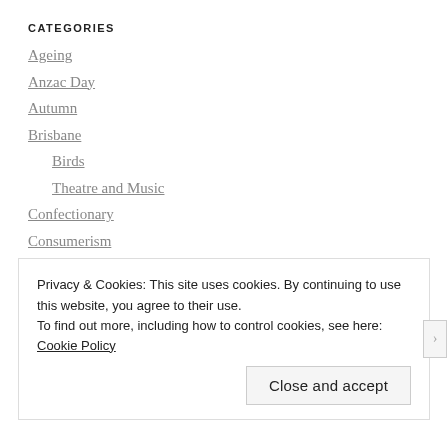CATEGORIES
Ageing
Anzac Day
Autumn
Brisbane
Birds
Theatre and Music
Confectionary
Consumerism
Design
Desserts
Privacy & Cookies: This site uses cookies. By continuing to use this website, you agree to their use.
To find out more, including how to control cookies, see here: Cookie Policy
Close and accept